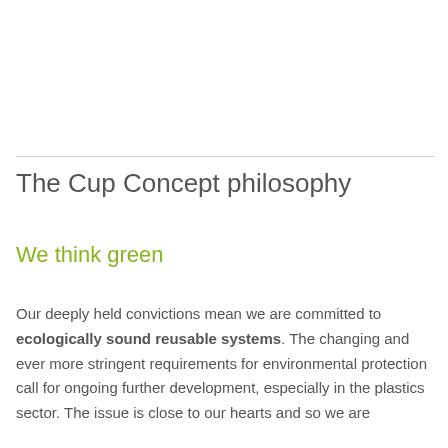The Cup Concept philosophy
We think green
Our deeply held convictions mean we are committed to ecologically sound reusable systems. The changing and ever more stringent requirements for environmental protection call for ongoing further development, especially in the plastics sector. The issue is close to our hearts and so we are